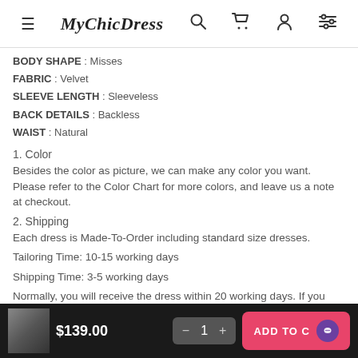MyChicDress navigation bar with menu, search, cart, account, and filter icons
BODY SHAPE : Misses
FABRIC : Velvet
SLEEVE LENGTH : Sleeveless
BACK DETAILS : Backless
WAIST : Natural
1. Color
Besides the color as picture, we can make any color you want. Please refer to the Color Chart for more colors, and leave us a note at checkout.
2. Shipping
Each dress is Made-To-Order including standard size dresses.
Tailoring Time: 10-15 working days
Shipping Time: 3-5 working days
Normally, you will receive the dress within 20 working days. If you need to receive the dress in 10 working days, please pay extra $45 for a rush order
$139.00  — ADD TO CART  quantity: 1